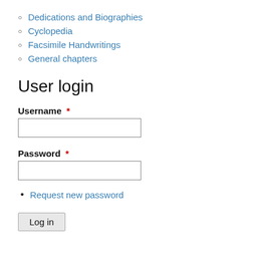Dedications and Biographies
Cyclopedia
Facsimile Handwritings
General chapters
User login
Username *
Password *
Request new password
Log in